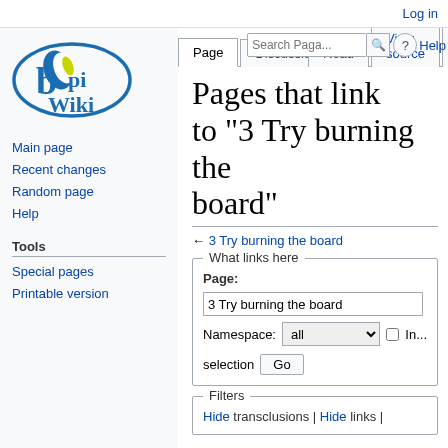Log in
[Figure (logo): BPI Wiki logo with blue oval and wiki text]
Page | Discussion | Read | View source | View history | Search | Help
Pages that link to "3 Try burning the board"
← 3 Try burning the board
What links here
Page: 3 Try burning the board
Namespace: all  Invert selection Go
Filters
Hide transclusions | Hide links |